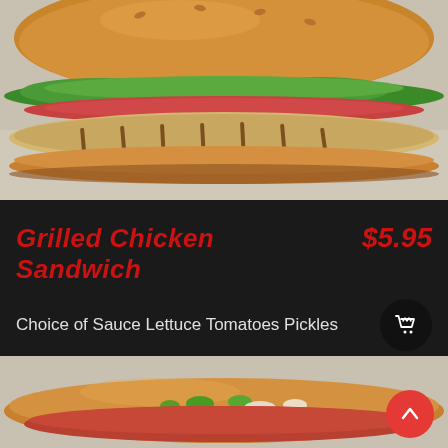[Figure (photo): Close-up photo of a grilled chicken sandwich with lettuce, tomato, and a sesame bun on white paper with red logo prints]
Grilled Chicken Sandwich
$5.95
Choice of Sauce Lettuce Tomatoes Pickles
[Figure (photo): Partial photo of another sandwich (likely a hot dog or sub) on white paper with red logo prints, partially visible at bottom of page]